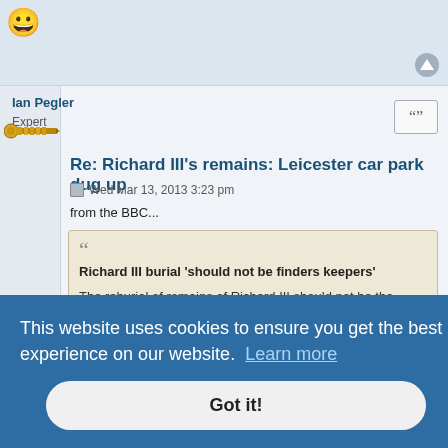[Figure (illustration): Smiley face emoji (grinning face) in top left corner]
Ian Pegler
Expert
[Figure (illustration): Gold decorative screw/bolt avatar image for user Ian Pegler]
Re: Richard III's remains: Leicester car park dug up
Wed Mar 13, 2013 3:23 pm
from the BBC...
Richard III burial 'should not be finders keepers'

The reburial of remains of Richard III should not be the subject of a "finders, keepers agreement", York Outer MP Julian Sturdy has argued.
This website uses cookies to ensure you get the best experience on our website.
Got it!